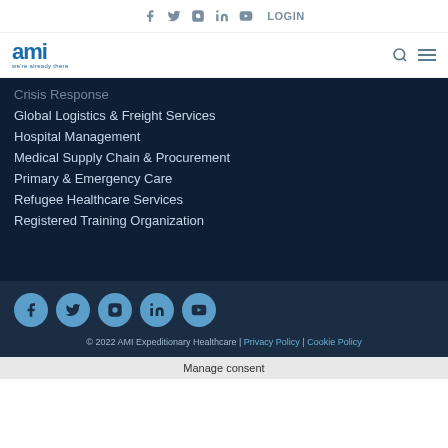f  tw  in  instagram  yt  LOGIN
[Figure (logo): AMI Expeditionary Healthcare logo with tagline 'we're already there' in blue]
Crisis Response (partially visible)
Global Logistics & Freight Services
Hospital Management
Medical Supply Chain & Procurement
Primary & Emergency Care
Refugee Healthcare Services
Registered Training Organization
[Figure (illustration): Row of 5 social media icons (Facebook, Twitter, Instagram, LinkedIn, YouTube) in light blue circles on dark background]
© 2022 AMI Expeditionary Healthcare | Privacy Policy | Cookie Policy
Manage consent